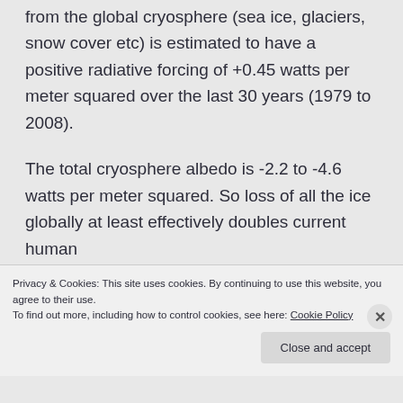from the global cryosphere (sea ice, glaciers, snow cover etc) is estimated to have a positive radiative forcing of +0.45 watts per meter squared over the last 30 years (1979 to 2008).
The total cryosphere albedo is -2.2 to -4.6 watts per meter squared. So loss of all the ice globally at least effectively doubles current human
Privacy & Cookies: This site uses cookies. By continuing to use this website, you agree to their use.
To find out more, including how to control cookies, see here: Cookie Policy